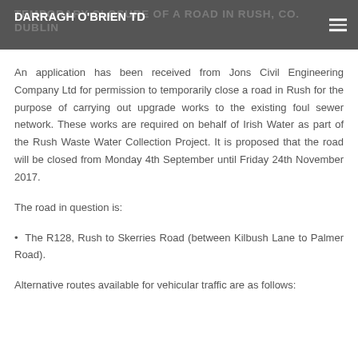DARRAGH O'BRIEN TD
An application has been received from Jons Civil Engineering Company Ltd for permission to temporarily close a road in Rush for the purpose of carrying out upgrade works to the existing foul sewer network. These works are required on behalf of Irish Water as part of the Rush Waste Water Collection Project. It is proposed that the road will be closed from Monday 4th September until Friday 24th November 2017.
The road in question is:
The R128, Rush to Skerries Road (between Kilbush Lane to Palmer Road).
Alternative routes available for vehicular traffic are as follows: